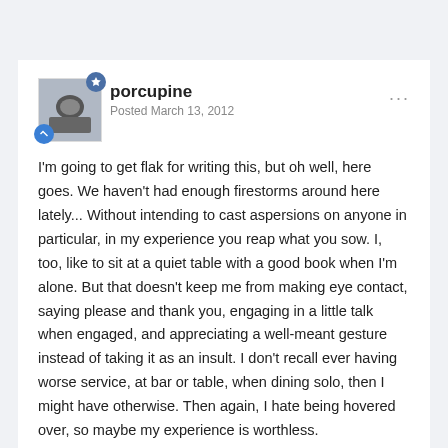porcupine — Posted March 13, 2012
I'm going to get flak for writing this, but oh well, here goes. We haven't had enough firestorms around here lately... Without intending to cast aspersions on anyone in particular, in my experience you reap what you sow. I, too, like to sit at a quiet table with a good book when I'm alone. But that doesn't keep me from making eye contact, saying please and thank you, engaging in a little talk when engaged, and appreciating a well-meant gesture instead of taking it as an insult. I don't recall ever having worse service, at bar or table, when dining solo, then I might have otherwise. Then again, I hate being hovered over, so maybe my experience is worthless.
...now where did I put the nomex suit?
eta: what sphere777 said. Perception is reality.